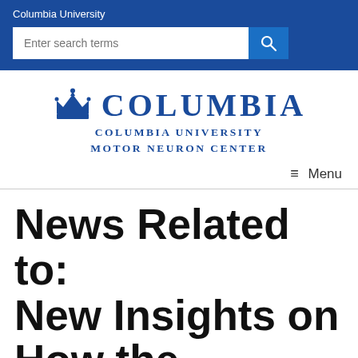Columbia University
Enter search terms
[Figure (logo): Columbia University Motor Neuron Center logo with crown icon and text]
Menu
News Related to: New Insights on How the